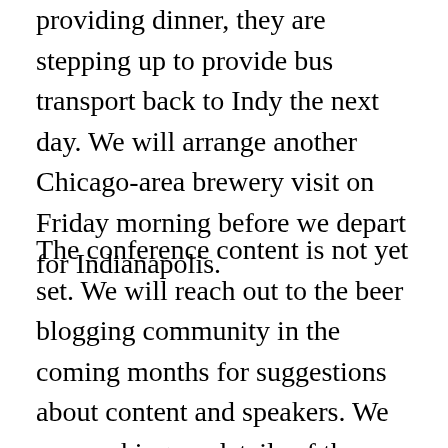providing dinner, they are stepping up to provide bus transport back to Indy the next day. We will arrange another Chicago-area brewery visit on Friday morning before we depart for Indianapolis.
The conference content is not yet set. We will reach out to the beer blogging community in the coming months for suggestions about content and speakers. We are working on details of the European Beer Bloggers Conference as well and hope to announce it within a week.
Sorry for the delay on both conferences – it